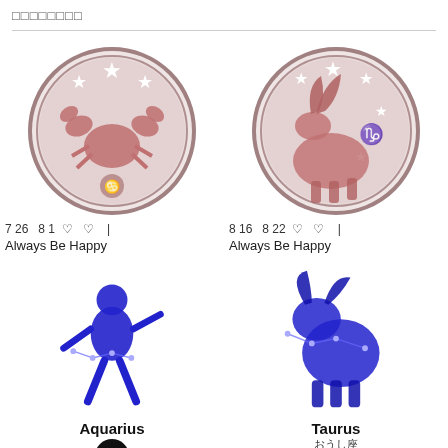□□□□□□□□
[Figure (illustration): Cancer zodiac sign medallion - pink/mauve circular coin with crab illustration and stars]
7  26   8  1  ♡   ♡    |
Always Be Happy
[Figure (illustration): Capricorn zodiac sign medallion - pink/mauve circular coin with goat illustration, stars and Capricorn symbol]
8  16   8  22  ♡   ♡    |
Always Be Happy
[Figure (illustration): Aquarius zodiac sign - blue illustration of water bearer figure with constellation lines]
Aquarius
[Figure (illustration): Taurus zodiac sign - blue illustration of bull figure with constellation lines]
Taurus おうし座